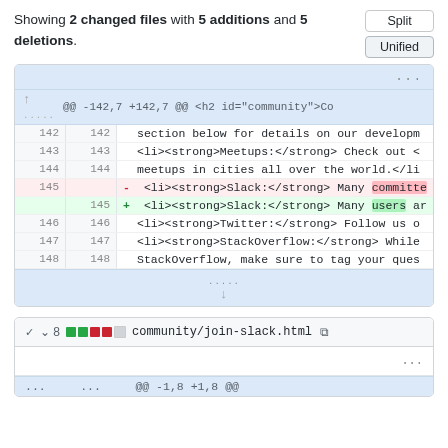Showing 2 changed files with 5 additions and 5 deletions.
[Figure (screenshot): GitHub diff view showing changes to lines 142-148 with line 145 changed from 'committe' to 'users']
[Figure (screenshot): Second diff file header: 8 changes in community/join-slack.html, with hunk @@ -1,8 +1,8 @@]